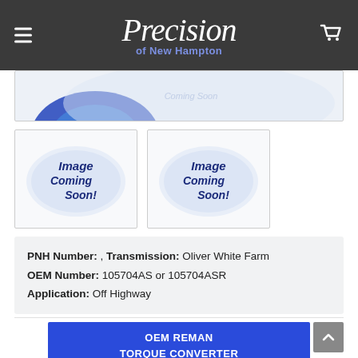Precision of New Hampton
[Figure (photo): Partial product image cropped at top, showing blue and white torque converter component]
[Figure (photo): Thumbnail placeholder 1: Image Coming Soon bubble graphic]
[Figure (photo): Thumbnail placeholder 2: Image Coming Soon bubble graphic]
PNH Number: , Transmission: Oliver White Farm OEM Number: 105704AS or 105704ASR Application: Off Highway
OEM REMAN TORQUE CONVERTER